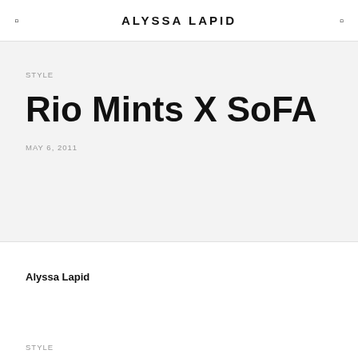ALYSSA LAPID
STYLE
Rio Mints X SoFA
MAY 6, 2011
Alyssa Lapid
STYLE